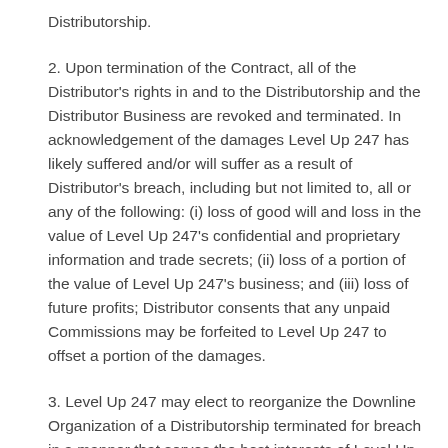Distributorship.
2. Upon termination of the Contract, all of the Distributor's rights in and to the Distributorship and the Distributor Business are revoked and terminated. In acknowledgement of the damages Level Up 247 has likely suffered and/or will suffer as a result of Distributor's breach, including but not limited to, all or any of the following: (i) loss of good will and loss in the value of Level Up 247's confidential and proprietary information and trade secrets; (ii) loss of a portion of the value of Level Up 247's business; and (iii) loss of future profits; Distributor consents that any unpaid Commissions may be forfeited to Level Up 247 to offset a portion of the damages.
3. Level Up 247 may elect to reorganize the Downline Organization of a Distributorship terminated for breach in a manner that serves the best interests of Level Up